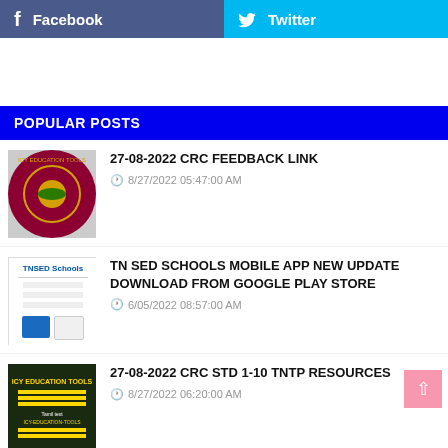Facebook
Twitter
POPULAR POSTS
27-08-2022 CRC FEEDBACK LINK
8/27/2022 05:47:00 AM
TN SED SCHOOLS MOBILE APP NEW UPDATE DOWNLOAD FROM GOOGLE PLAY STORE
6/05/2022 08:57:00 AM
27-08-2022 CRC STD 1-10 TNTP RESOURCES
8/27/2022 06:20:00 AM
CRC 27-08-2022 BRC CRC FACILITATOR ROLES AND